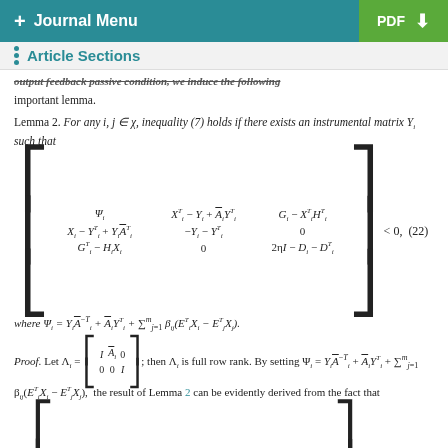+ Journal Menu   PDF ↓
Article Sections
output feedback passive condition, we induce the following important lemma.
Lemma 2. For any i, j ∈ χ, inequality (7) holds if there exists an instrumental matrix Y_i such that
Proof. Let Λ_i = [[I Ā_i 0],[0 0 I]]; then Λ_i is full row rank. By setting Ψ_i = Y_i Ā_i^{-T} + Ā_i Y_i^T + Σ_{j=1}^m β_{ij}(E_i^T X_i − E_j^T X_j), the result of Lemma 2 can be evidently derived from the fact that